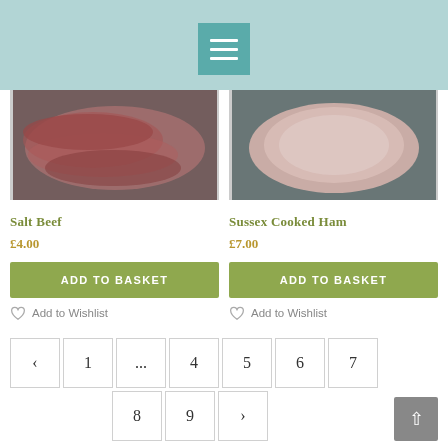[Figure (screenshot): Website header bar with teal/mint background and a menu icon (hamburger) button centered, teal square with three white horizontal lines]
[Figure (photo): Product image of sliced salt beef arranged on a dark surface]
Salt Beef
£4.00
ADD TO BASKET
Add to Wishlist
[Figure (photo): Product image of sliced Sussex cooked ham on a dark surface]
Sussex Cooked Ham
£7.00
ADD TO BASKET
Add to Wishlist
‹  1  ...  4  5  6  7  8  9  ›